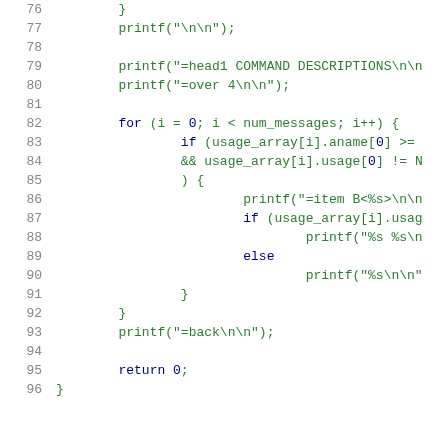Code listing lines 76-96: C source code with printf statements and for loop